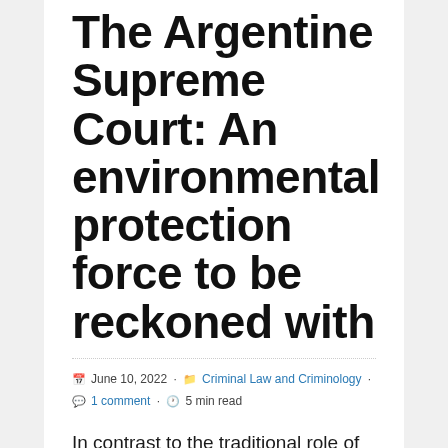The Argentine Supreme Court: An environmental protection force to be reckoned with
June 10, 2022 · Criminal Law and Criminology · 1 comment · 5 min read
In contrast to the traditional role of judges as neutral